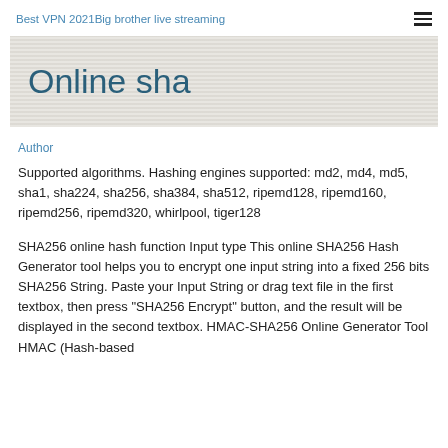Best VPN 2021Big brother live streaming
Online sha
Author
Supported algorithms. Hashing engines supported: md2, md4, md5, sha1, sha224, sha256, sha384, sha512, ripemd128, ripemd160, ripemd256, ripemd320, whirlpool, tiger128
SHA256 online hash function Input type This online SHA256 Hash Generator tool helps you to encrypt one input string into a fixed 256 bits SHA256 String. Paste your Input String or drag text file in the first textbox, then press "SHA256 Encrypt" button, and the result will be displayed in the second textbox. HMAC-SHA256 Online Generator Tool HMAC (Hash-based